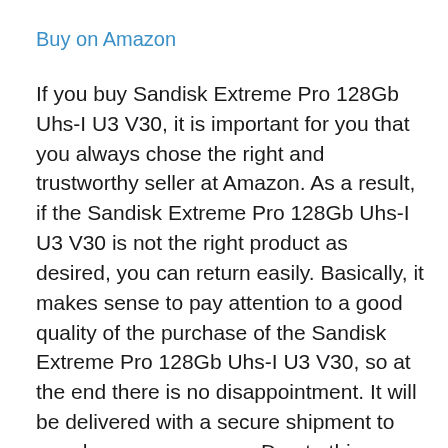Buy on Amazon
If you buy Sandisk Extreme Pro 128Gb Uhs-I U3 V30, it is important for you that you always chose the right and trustworthy seller at Amazon. As a result, if the Sandisk Extreme Pro 128Gb Uhs-I U3 V30 is not the right product as desired, you can return easily. Basically, it makes sense to pay attention to a good quality of the purchase of the Sandisk Extreme Pro 128Gb Uhs-I U3 V30, so at the end there is no disappointment. It will be delivered with a secure shipment to your home or company. Due to this attention, unpleasant surprises with Sandisk Extreme Pro 128Gb Uhs-I U3 V30 are minimized considerably.